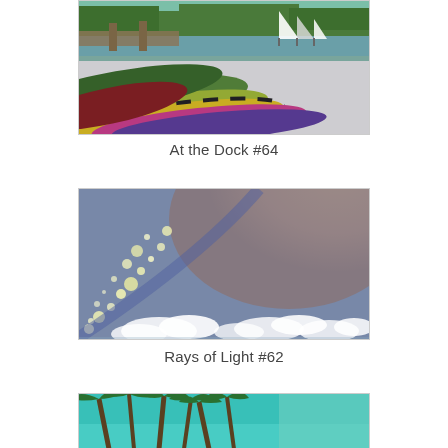[Figure (illustration): Colorful artistic painting of sailboats and canoes at a dock with green foliage in background. Foreground shows vivid colored canoes/kayaks in green, yellow, pink, purple stripes.]
At the Dock #64
[Figure (illustration): Abstract artistic photo/painting showing arc of water droplets or bokeh lights on left, sandy texture upper right, and cloudy sky with white fluffy clouds at bottom.]
Rays of Light #62
[Figure (illustration): Partial view of an artistic image showing palm trees against a bright blue-green sky, partially cropped at bottom of page.]